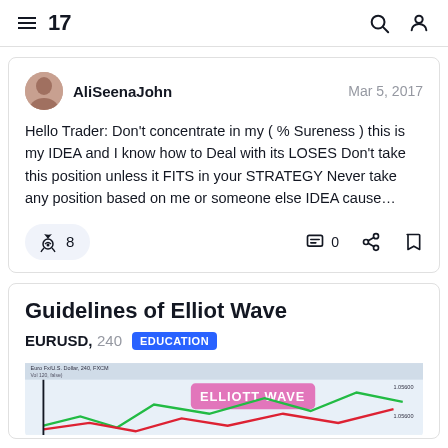TradingView navigation header with hamburger menu, logo, search and user icons
AliSeenaJohn
Mar 5, 2017
Hello Trader: Don't concentrate in my ( % Sureness ) this is my IDEA and I know how to Deal with its LOSES Don't take this position unless it FITS in your STRATEGY Never take any position based on me or someone else IDEA cause…
Guidelines of Elliot Wave
EURUSD, 240 EDUCATION
[Figure (screenshot): Elliott Wave chart preview showing EURUSD 240 chart from FXCM with green and red wave lines and pink Elliott Wave label box]